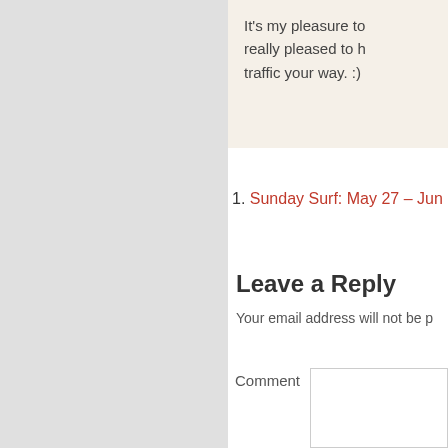It's my pleasure to... really pleased to h... traffic your way. :)
1. Sunday Surf: May 27 – Jun...
Leave a Reply
Your email address will not be p...
Comment